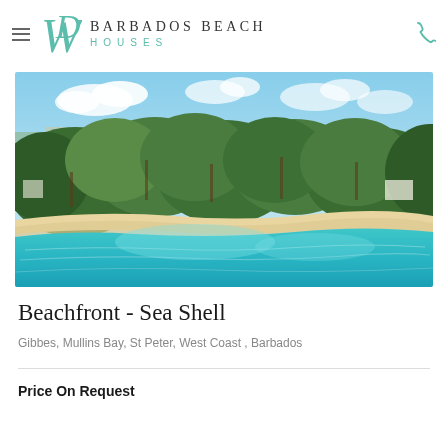BARBADOS BEACH HOUSES
[Figure (photo): Aerial drone photograph of Beachfront Sea Shell property at Gibbes, Mullins Bay, Barbados. Shows turquoise Caribbean sea in foreground, white sandy beach, dense green tropical trees and vegetation, and residential buildings visible in the background under a partly cloudy sky.]
Beachfront - Sea Shell
Gibbes, Mullins Bay, St Peter, West Coast , Barbados
Price On Request